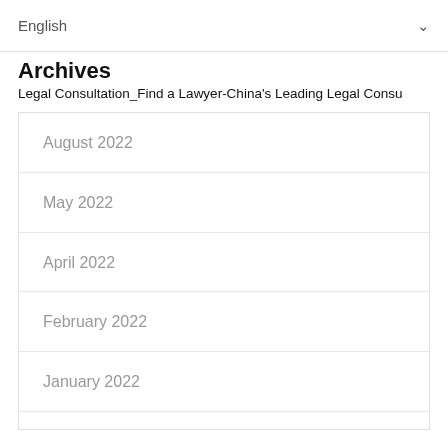English
Archives
Legal Consultation_Find a Lawyer-China's Leading Legal Consu
August 2022
May 2022
April 2022
February 2022
January 2022
December 2021